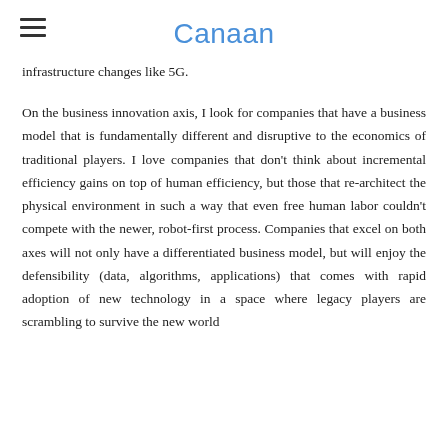Canaan
infrastructure changes like 5G.
On the business innovation axis, I look for companies that have a business model that is fundamentally different and disruptive to the economics of traditional players. I love companies that don't think about incremental efficiency gains on top of human efficiency, but those that re-architect the physical environment in such a way that even free human labor couldn't compete with the newer, robot-first process. Companies that excel on both axes will not only have a differentiated business model, but will enjoy the defensibility (data, algorithms, applications) that comes with rapid adoption of new technology in a space where legacy players are scrambling to survive the new world